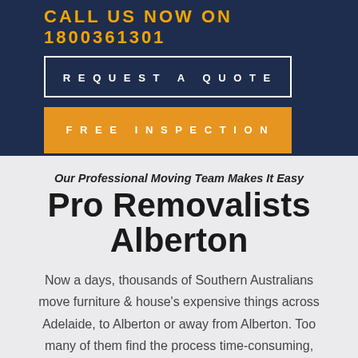CALL US NOW ON 1800361301
REQUEST A QUOTE
FREE INSPECTION
Our Professional Moving Team Makes It Easy
Pro Removalists Alberton
Now a days, thousands of Southern Australians move furniture & house's expensive things across Adelaide, to Alberton or away from Alberton. Too many of them find the process time-consuming,